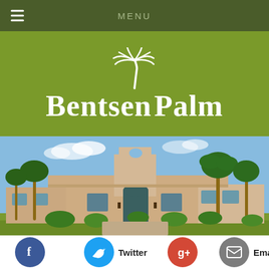MENU
Bentsen Palm
[Figure (photo): Spanish-style stucco building with palm trees under blue sky, clubhouse or community center exterior.]
Facebook
Twitter
Google+
Email